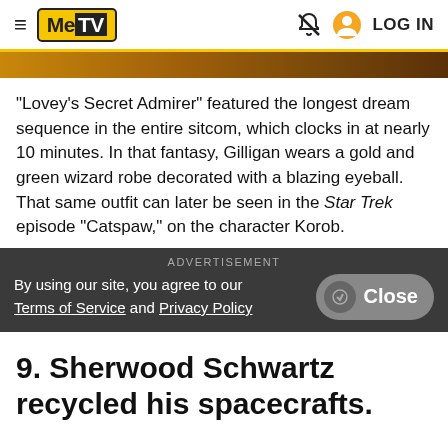MeTV — LOG IN
[Figure (photo): Partial image strip showing a person, cropped at top of page]
"Lovey's Secret Admirer" featured the longest dream sequence in the entire sitcom, which clocks in at nearly 10 minutes. In that fantasy, Gilligan wears a gold and green wizard robe decorated with a blazing eyeball. That same outfit can later be seen in the Star Trek episode "Catspaw," on the character Korob.
By using our site, you agree to our Terms of Service and Privacy Policy
9. Sherwood Schwartz recycled his spacecrafts.